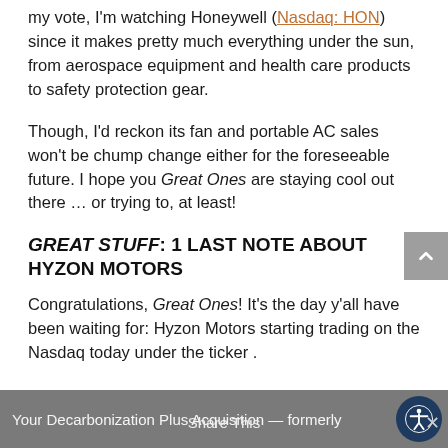my vote, I'm watching Honeywell (Nasdaq: HON) since it makes pretty much everything under the sun, from aerospace equipment and health care products to safety protection gear.
Though, I'd reckon its fan and portable AC sales won't be chump change either for the foreseeable future. I hope you Great Ones are staying cool out there … or trying to, at least!
GREAT STUFF: 1 LAST NOTE ABOUT HYZON MOTORS
Congratulations, Great Ones! It's the day y'all have been waiting for: Hyzon Motors starting trading on the Nasdaq today under the ticker .
Your Decarbonization Plus Acquisition — formerly